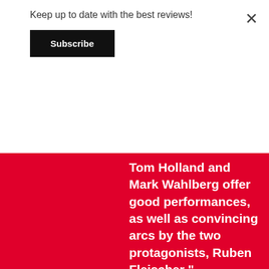Keep up to date with the best reviews!
Subscribe
Tom Holland and Mark Wahlberg offer good performances, as well as convincing arcs by the two protagonists, Ruben Fleischer "
-msbreviews
This website uses cookies to ensure you get the best experience on our website.
Learn more
Got it!
ntact
jhts